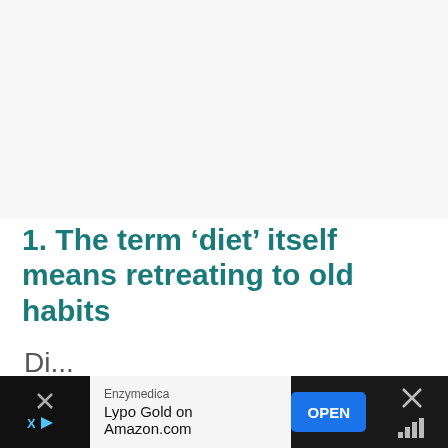[Figure (other): Large blank/light gray advertisement placeholder area at the top of the page]
1. The term ‘diet’ itself means retreating to old habits
When we use the term ‘diet’, it is equated with weight loss.
[Figure (other): Advertisement banner at bottom: Enzymedica Lypo Gold on Amazon.com with OPEN button, X close icons on both sides]